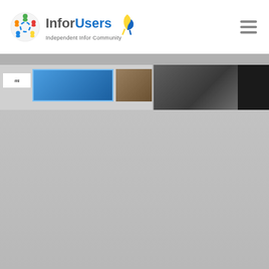InforUsers Independent Infor Community
[Figure (screenshot): InforUsers website header with logo (colorful circular people icon and blue/yellow ribbon), site name 'InforUsers' with tagline 'Independent Infor Community', and hamburger menu icon on the right]
[Figure (screenshot): Website content slider area showing partially visible slide thumbnails on a gray background, including a blue-highlighted slide on the left and a dark image on the right]